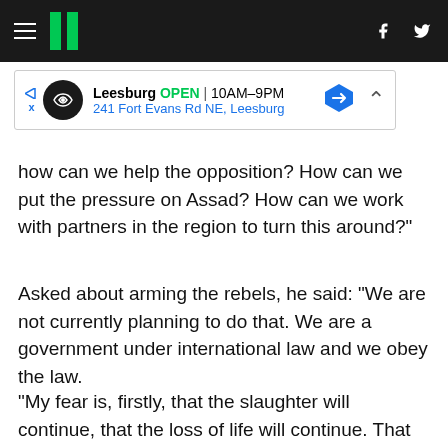HuffPost
[Figure (screenshot): Advertisement banner for a store location in Leesburg, showing OPEN 10AM-9PM and address 241 Fort Evans Rd NE, Leesburg]
how can we help the opposition? How can we put the pressure on Assad? How can we work with partners in the region to turn this around?"
Asked about arming the rebels, he said: "We are not currently planning to do that. We are a government under international law and we obey the law.
"My fear is, firstly, that the slaughter will continue, that the loss of life will continue. That should be our number one concern.